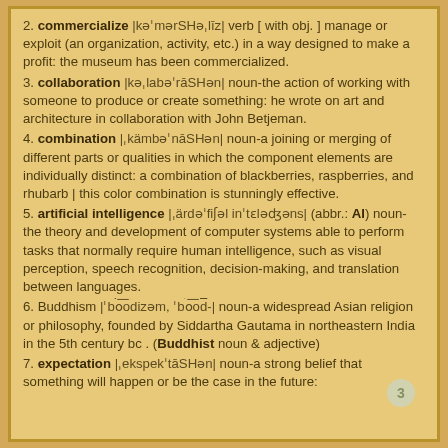2. commercialize |kəˈmərSHəˌlīz| verb [ with obj. ] manage or exploit (an organization, activity, etc.) in a way designed to make a profit: the museum has been commercialized.
3. collaboration |kəˌlabəˈrāSHən| noun-the action of working with someone to produce or create something: he wrote on art and architecture in collaboration with John Betjeman.
4. combination |ˌkämbəˈnāSHən| noun-a joining or merging of different parts or qualities in which the component elements are individually distinct: a combination of blackberries, raspberries, and rhubarb | this color combination is stunningly effective.
5. artificial intelligence |ˌärdəˈfiʃəl inˈtɛləʤəns| (abbr.: AI) noun-the theory and development of computer systems able to perform tasks that normally require human intelligence, such as visual perception, speech recognition, decision-making, and translation between languages.
6. Buddhism |ˈbo͞odizəm, ˈbo͞od-| noun-a widespread Asian religion or philosophy, founded by Siddartha Gautama in northeastern India in the 5th century bc . (Buddhist noun & adjective)
7. expectation |ˌekspekˈtāSHən| noun-a strong belief that something will happen or be the case in the future: